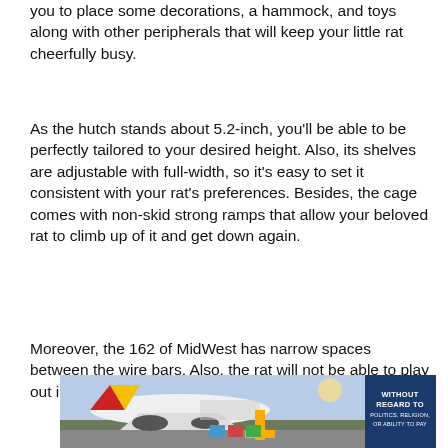you to place some decorations, a hammock, and toys along with other peripherals that will keep your little rat cheerfully busy.
As the hutch stands about 5.2-inch, you'll be able to be perfectly tailored to your desired height. Also, its shelves are adjustable with full-width, so it's easy to set it consistent with your rat's preferences. Besides, the cage comes with non-skid strong ramps that allow your beloved rat to climb up of it and get down again.
Moreover, the 162 of MidWest has narrow spaces between the wire bars. Also, the rat will not be able to play out in just ½ inches
[Figure (photo): Advertisement image showing an airplane being loaded with cargo, with a dark blue overlay on the right side reading 'WITHOUT REGARD TO POLITICS, RELIGION, OR ABILITY TO PAY']